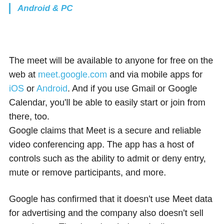Android & PC
The meet will be available to anyone for free on the web at meet.google.com and via mobile apps for iOS or Android. And if you use Gmail or Google Calendar, you'll be able to easily start or join from there, too.
Google claims that Meet is a secure and reliable video conferencing app. The app has a host of controls such as the ability to admit or deny entry, mute or remove participants, and more.
Google has confirmed that it doesn't use Meet data for advertising and the company also doesn't sell your data to Thord parties. It doesn't allow anonymous users and